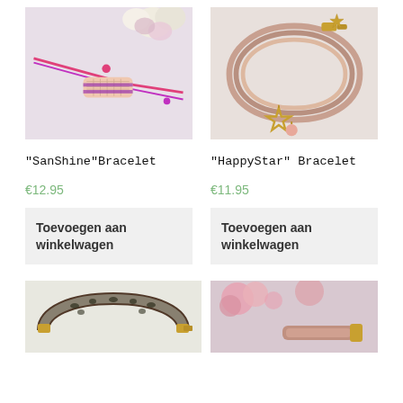[Figure (photo): SanShine bracelet product photo - pink/magenta cord bracelet with beaded rectangular centerpiece on light background with flowers]
[Figure (photo): HappyStar bracelet product photo - multi-strand pink leather bracelet with gold star and pink bead charms]
“SanShine”Bracelet
“HappyStar” Bracelet
€12.95
€11.95
Toevoegen aan winkelwagen
Toevoegen aan winkelwagen
[Figure (photo): Leopard print bracelet with gold clasp]
[Figure (photo): Bracelet with pink flowers in background]